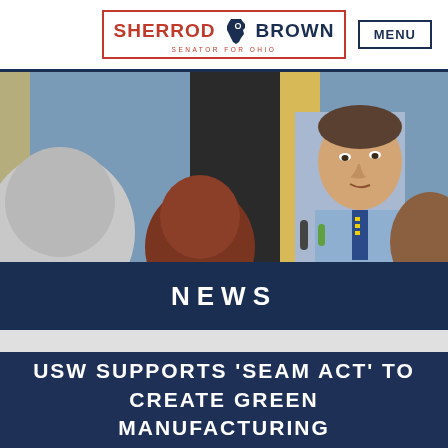SHERROD BROWN | SENATOR FOR OHIO | MENU
[Figure (photo): Senator Sherrod Brown speaking to reporters outdoors, holding microphones, in a blue shirt and striped tie.]
NEWS
USW SUPPORTS 'SEAM ACT' TO CREATE GREEN MANUFACTURING